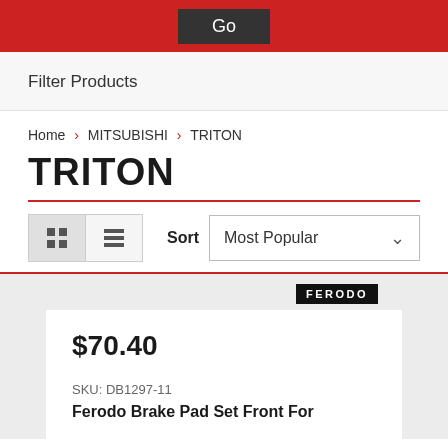Go
Filter Products
Home > MITSUBISHI > TRITON
TRITON
Sort  Most Popular
[Figure (logo): FERODO brand logo in white text on black background]
$70.40
SKU: DB1297-11
Ferodo Brake Pad Set Front For